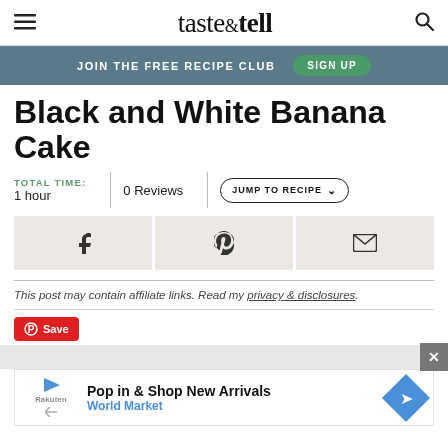taste&tell
JOIN THE FREE RECIPE CLUB   SIGN UP
Black and White Banana Cake
TOTAL TIME: 1 hour | 0 Reviews | JUMP TO RECIPE
[Figure (other): Social share buttons: Facebook, Pinterest, Email]
This post may contain affiliate links. Read my privacy & disclosures.
[Figure (other): Pinterest Save button]
[Figure (other): Advertisement banner: Pop in & Shop New Arrivals - World Market]